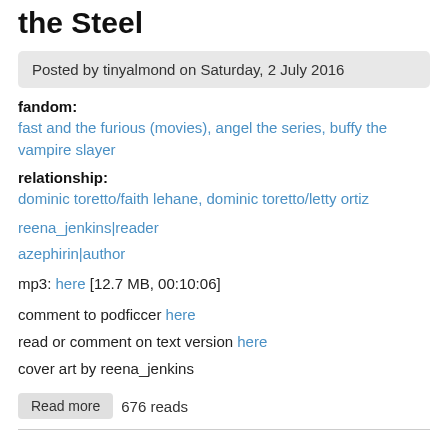the Steel
Posted by tinyalmond on Saturday, 2 July 2016
fandom:
fast and the furious (movies), angel the series, buffy the vampire slayer
relationship:
dominic toretto/faith lehane, dominic toretto/letty ortiz
reena_jenkins|reader
azephirin|author
mp3: here [12.7 MB, 00:10:06]
comment to podficcer here
read or comment on text version here
cover art by reena_jenkins
Read more  676 reads